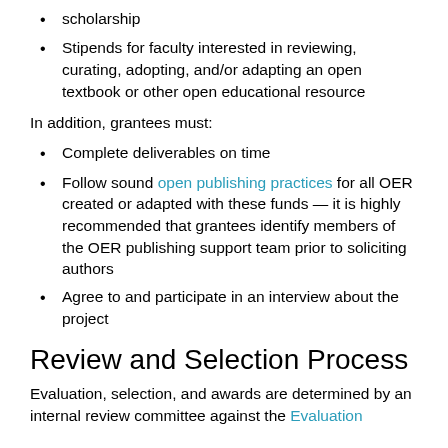scholarship
Stipends for faculty interested in reviewing, curating, adopting, and/or adapting an open textbook or other open educational resource
In addition, grantees must:
Complete deliverables on time
Follow sound open publishing practices for all OER created or adapted with these funds — it is highly recommended that grantees identify members of the OER publishing support team prior to soliciting authors
Agree to and participate in an interview about the project
Review and Selection Process
Evaluation, selection, and awards are determined by an internal review committee against the Evaluation